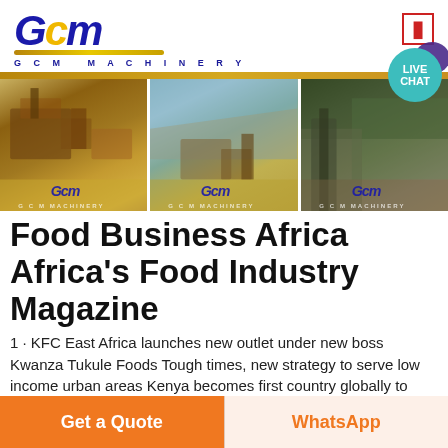[Figure (logo): GCM Machinery logo: stylized italic blue GCM letters with gold underline arc and GCM MACHINERY text below]
[Figure (photo): Three side-by-side photos of heavy mining/quarrying machinery and excavation sites, each with a GCM watermark logo]
Food Business Africa Africa's Food Industry Magazine
1 · KFC East Africa launches new outlet under new boss Kwanza Tukule Foods Tough times, new strategy to serve low income urban areas Kenya becomes first country globally to commercialize weed bio-herbicide technology Burger King taps Industry Veteran Tom Curtis Appoints for
[Figure (other): Live Chat button: teal circle with LIVE CHAT text and purple speech bubble icon]
Get a Quote
WhatsApp